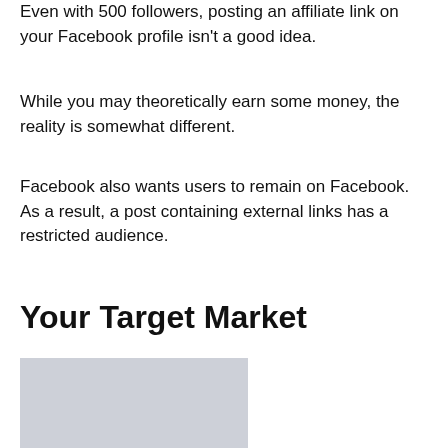Even with 500 followers, posting an affiliate link on your Facebook profile isn't a good idea.
While you may theoretically earn some money, the reality is somewhat different.
Facebook also wants users to remain on Facebook. As a result, a post containing external links has a restricted audience.
Your Target Market
[Figure (photo): Light gray placeholder image rectangle]